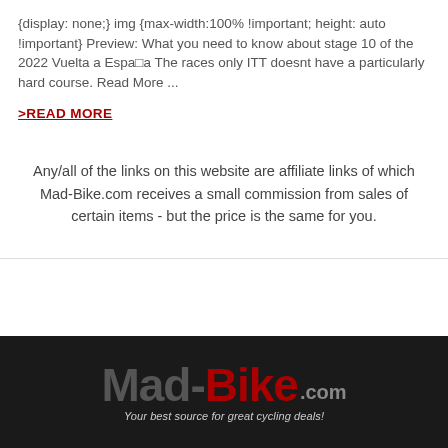{display: none;} img {max-width:100% !important; height: auto !important} Preview: What you need to know about stage 10 of the 2022 Vuelta a España The races only ITT doesnt have a particularly hard course. Read More ...
>READ MORE
Any/all of the links on this website are affiliate links of which Mad-Bike.com receives a small commission from sales of certain items - but the price is the same for you.
[Figure (logo): Mad-Bike.com logo on dark background with tagline 'Your best source for great cycling deals!']